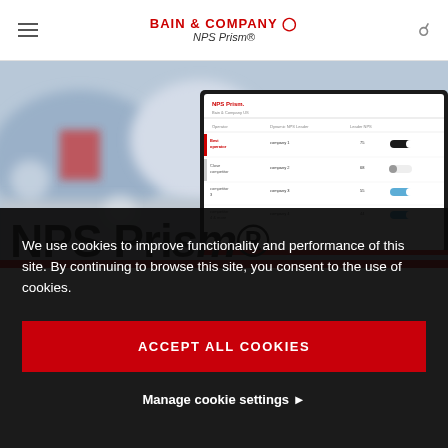BAIN & COMPANY NPS Prism®
[Figure (screenshot): Hero image showing a blurred office/lab background with a laptop displaying the NPS Prism interface, showing a data table with company NPS scores]
We use cookies to improve functionality and performance of this site. By continuing to browse this site, you consent to the use of cookies.
ACCEPT ALL COOKIES
Manage cookie settings ▶